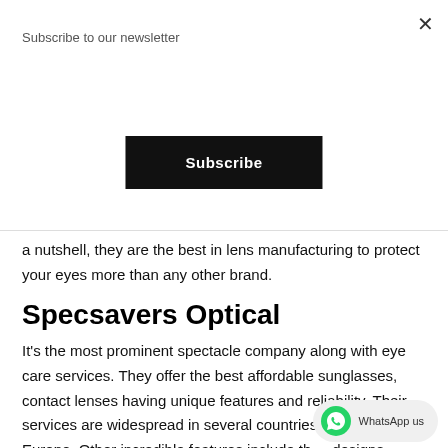Subscribe to our newsletter
Subscribe
a nutshell, they are the best in lens manufacturing to protect your eyes more than any other brand.
Specsavers Optical
It's the most prominent spectacle company along with eye care services. They offer the best affordable sunglasses, contact lenses having unique features and reliability. Their services are widespread in several countries, including Europe. Other incredible features include their designs, premium quality construction, all sizes, and top
[Figure (other): WhatsApp us button with phone icon]